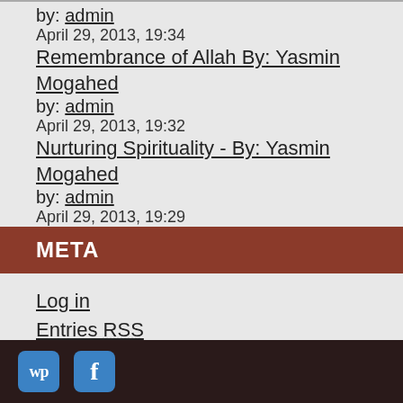by: admin
April 29, 2013, 19:34
Remembrance of Allah By: Yasmin Mogahed
by: admin
April 29, 2013, 19:32
Nurturing Spirituality - By: Yasmin Mogahed
by: admin
April 29, 2013, 19:29
META
Log in
Entries RSS
Comments RSS
WordPress.org
[Figure (other): WordPress icon and Facebook icon in dark footer bar]